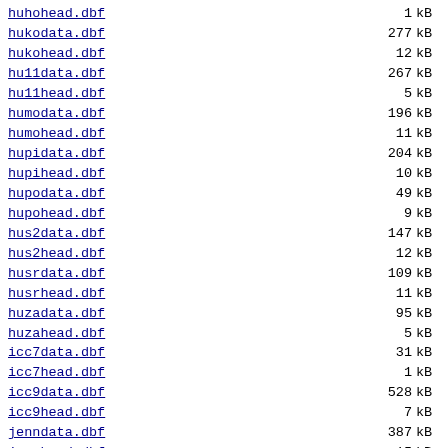huhohead.dbf   1 kB
hukodata.dbf   277 kB
hukohead.dbf   12 kB
hu11data.dbf   267 kB
hu11head.dbf   5 kB
humodata.dbf   196 kB
humohead.dbf   11 kB
hupidata.dbf   204 kB
hupihead.dbf   10 kB
hupodata.dbf   49 kB
hupohead.dbf   9 kB
hus2data.dbf   147 kB
hus2head.dbf   12 kB
husrdata.dbf   109 kB
husrhead.dbf   11 kB
huzadata.dbf   95 kB
huzahead.dbf   5 kB
icc7data.dbf   31 kB
icc7head.dbf   1 kB
icc9data.dbf   528 kB
icc9head.dbf   7 kB
jenndata.dbf   387 kB
jennhead.dbf   15 kB
kay1data.dbf   137 kB
kay1head.dbf   9 kB
kay2data.dbf   71 kB
kay2head.dbf   9 kB
klemdata.dbf   279 kB
klemhead.dbf   14 kB
leodata.dbf   122 kB